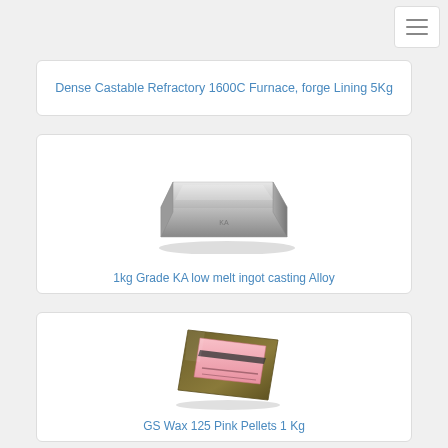[Figure (other): Hamburger menu button (three horizontal lines) in top right corner]
Dense Castable Refractory 1600C Furnace, forge Lining 5Kg
[Figure (photo): A silver metallic ingot bar, 1kg Grade KA low melt casting alloy]
1kg Grade KA low melt ingot casting Alloy
[Figure (photo): A pink packet/bag of GS Wax 125 Pink Pellets 1 Kg]
GS Wax 125 Pink Pellets 1 Kg